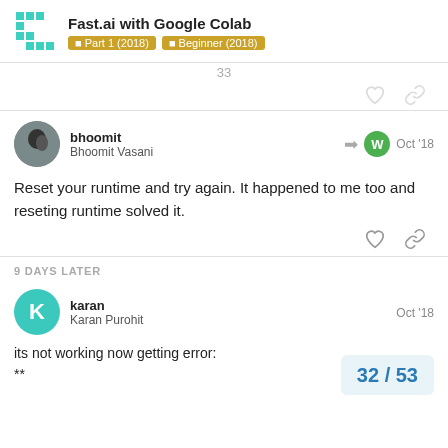Fast.ai with Google Colab — Part 1 (2018) | Beginner (2018)
bhoomit / Bhoomit Vasani — Oct '18
Reset your runtime and try again. It happened to me too and reseting runtime solved it.
9 DAYS LATER
karan / Karan Purohit — Oct '18
its not working now getting error:
**